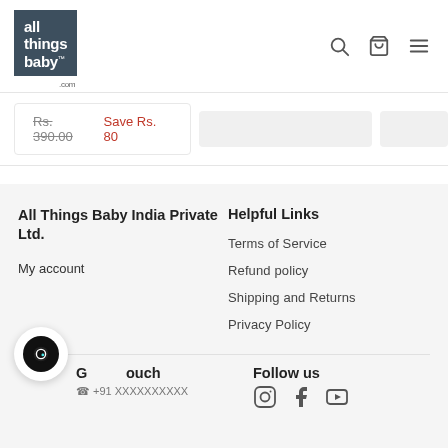[Figure (logo): All Things Baby .com logo — white text on dark slate background]
Rs. 390.00  Save Rs. 80
All Things Baby India Private Ltd.
My account
Helpful Links
Terms of Service
Refund policy
Shipping and Returns
Privacy Policy
Get in touch
Follow us